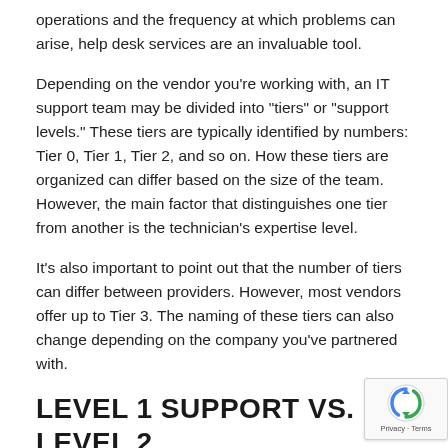operations and the frequency at which problems can arise, help desk services are an invaluable tool.
Depending on the vendor you’re working with, an IT support team may be divided into “tiers” or “support levels.” These tiers are typically identified by numbers: Tier 0, Tier 1, Tier 2, and so on. How these tiers are organized can differ based on the size of the team. However, the main factor that distinguishes one tier from another is the technician’s expertise level.
It’s also important to point out that the number of tiers can differ between providers. However, most vendors offer up to Tier 3. The naming of these tiers can also change depending on the company you’ve partnered with.
LEVEL 1 SUPPORT VS. LEVEL 2